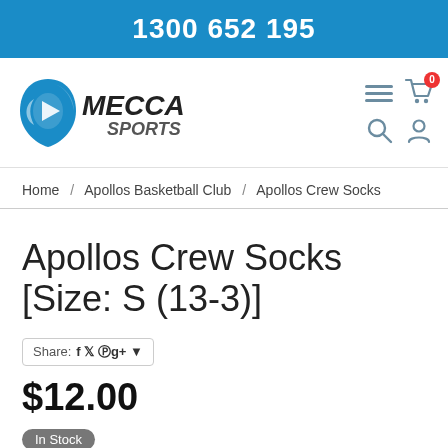1300 652 195
[Figure (logo): Mecca Sports logo: blue shield/lens shape icon with MECCA SPORTS text in bold italic]
Home / Apollos Basketball Club / Apollos Crew Socks
Apollos Crew Socks [Size: S (13-3)]
Share: f  g+
$12.00
In Stock